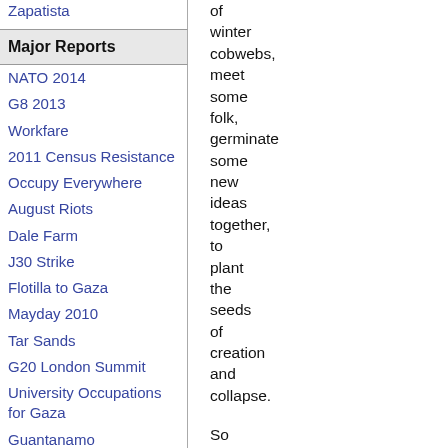Zapatista
Major Reports
NATO 2014
G8 2013
Workfare
2011 Census Resistance
Occupy Everywhere
August Riots
Dale Farm
J30 Strike
Flotilla to Gaza
Mayday 2010
Tar Sands
G20 London Summit
University Occupations for Gaza
Guantanamo
Indymedia Server Seizure
COP15 Climate Summit 2009
Carmel Agrexco
of winter cobwebs, meet some folk, germinate some new ideas together, to plant the seeds of creation and collapse.

So we are inviting you for a